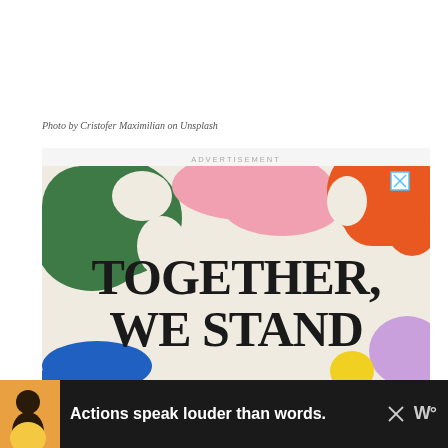Photo by Cristofer Maximilian on Unsplash
[Figure (infographic): Advertisement banner for 'TOGETHER, WE STAND' with colorful abstract shapes (green, pink, orange, purple, blue) on a cream background]
[Figure (infographic): Bottom advertisement banner on dark background with avatar image and text 'Actions speak louder than words.' with a logo on the right]